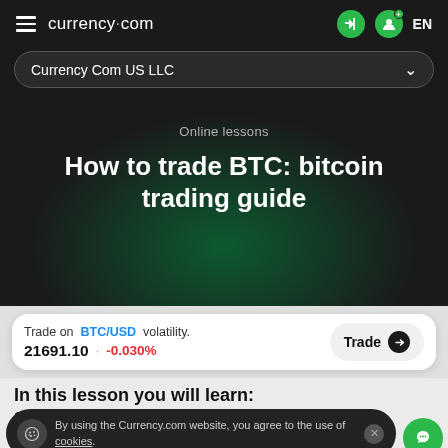currency.com  EN
Currency Com US LLC
Online lessons
How to trade BTC: bitcoin trading guide
Trade on BTC/USD volatility. 21691.10 · -0.030%
In this lesson you will learn:
1. How to start trading bitcoin
By using the Currency.com website, you agree to the use of cookies.